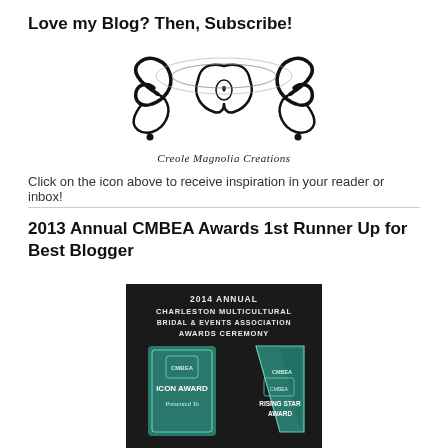Love my Blog? Then, Subscribe!
[Figure (logo): Creole Magnolia Creations logo — ornate black calligraphic monogram with scrollwork and the text 'Creole Magnolia Creations' in script below]
Click on the icon above to receive inspiration in your reader or inbox!
2013 Annual CMBEA Awards 1st Runner Up for Best Blogger
[Figure (photo): 2014 Annual Charleston Multicultural Bridal & Events Association Awards Ceremony — two glass crystal awards: Icon Award and Rising Star Award on a dark background]